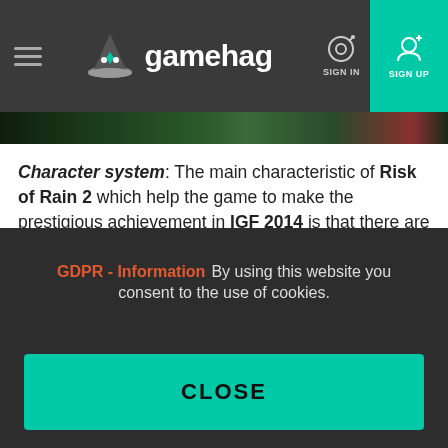gamehag — SIGN IN / SIGN UP
[Figure (screenshot): Dark green game scene image strip]
Character system: The main characteristic of Risk of Rain 2 which help the game to make the prestigious achievement in IGF 2014 is that there are many characters to unlock and some of them are only unlocked by completing tasks. They have their own abilities, playstyles and difficulty. Each character has a primary skill (normal attack), a secondary skill (attack ability on a short cooldown), a utility skill (another activatable ability on cooldown, usually mobility-based), a special skill (ultimate ability on a long cooldown). With this set of skills, players can't create the combo that deals a huge amount of damage to the boss. But I don't care about how
GDPR - Information   By using this website you consent to the use of cookies.
CLOSE